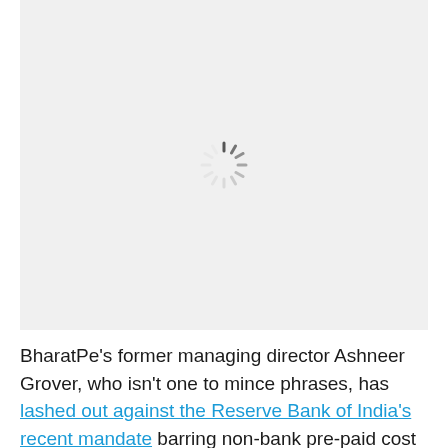[Figure (other): Loading spinner icon centered in a light gray rectangular placeholder area]
BharatPe's former managing director Ashneer Grover, who isn't one to mince phrases, has lashed out against the Reserve Bank of India's recent mandate barring non-bank pre-paid cost devices (PPI) from being loaded with credit